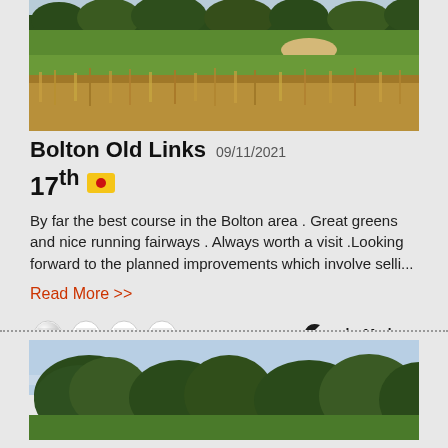[Figure (photo): Golf course fairway with green grass, rough tall grasses, trees in background - Bolton Old Links]
Bolton Old Links 09/11/2021
17th [flag icon]
By far the best course in the Bolton area . Great greens and nice running fairways . Always worth a visit .Looking forward to the planned improvements which involve selli...
Read More >>
[Figure (illustration): Four golf ball rating icons followed by TaylorMade logo]
[Figure (photo): Golf course with trees and sky - second course review card beginning]